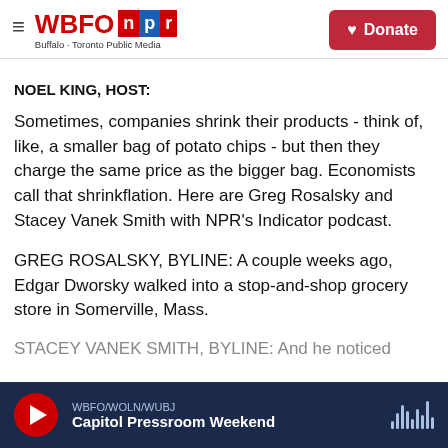WBFO NPR — Buffalo + Toronto Public Media | Donate
NOEL KING, HOST:
Sometimes, companies shrink their products - think of, like, a smaller bag of potato chips - but then they charge the same price as the bigger bag. Economists call that shrinkflation. Here are Greg Rosalsky and Stacey Vanek Smith with NPR's Indicator podcast.
GREG ROSALSKY, BYLINE: A couple weeks ago, Edgar Dworsky walked into a stop-and-shop grocery store in Somerville, Mass.
WBFO/WOLN/WUBJ — Capitol Pressroom Weekend